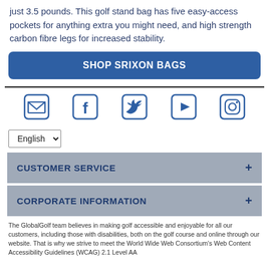just 3.5 pounds. This golf stand bag has five easy-access pockets for anything extra you might need, and high strength carbon fibre legs for increased stability.
SHOP SRIXON BAGS
[Figure (infographic): Social media icons: email, Facebook, Twitter, YouTube, Instagram]
English (dropdown selector)
CUSTOMER SERVICE +
CORPORATE INFORMATION +
The GlobalGolf team believes in making golf accessible and enjoyable for all our customers, including those with disabilities, both on the golf course and online through our website. That is why we strive to meet the World Wide Web Consortium's Web Content Accessibility Guidelines (WCAG) 2.1 Level AA